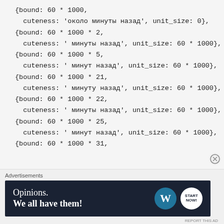{bound: 60 * 1000,
cuteness: 'около минуты назад', unit_size: 0},
{bound: 60 * 1000 * 2,
cuteness: ' минуты назад', unit_size: 60 * 1000},
{bound: 60 * 1000 * 5,
cuteness: ' минут назад', unit_size: 60 * 1000},
{bound: 60 * 1000 * 21,
cuteness: ' минуту назад', unit_size: 60 * 1000},
{bound: 60 * 1000 * 22,
cuteness: ' минуты назад', unit_size: 60 * 1000},
{bound: 60 * 1000 * 25,
cuteness: ' минут назад', unit_size: 60 * 1000},
{bound: 60 * 1000 * 31,
Advertisements
[Figure (other): Advertisement banner: dark navy background with text 'Opinions. We all have them!' in white, with WordPress logo and a circular button logo on the right.]